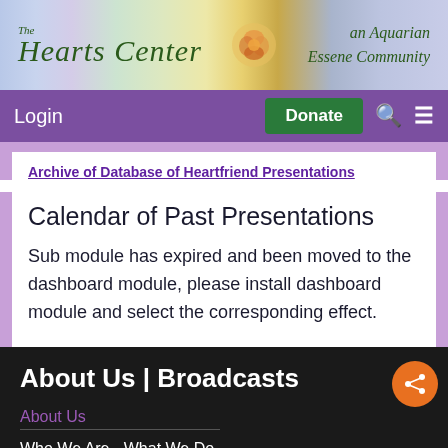[Figure (logo): The Hearts Center - an Aquarian Essene Community banner with colorful gradient background and rose image]
Login   Donate   [search icon]   [menu icon]
Archive of Database of Heartfriend Presentations
Calendar of Past Presentations
Sub module has expired and been moved to the dashboard module, please install dashboard module and select the corresponding effect.
About Us | Broadcasts
About Us
Who We Are - What We Do
David Christopher Lewis
Media Kit